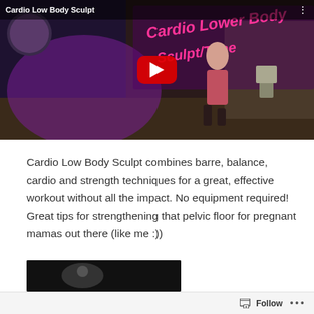[Figure (screenshot): YouTube video thumbnail for 'Cardio Low Body Sculpt' showing a woman exercising in a studio with a large red YouTube play button overlay. Background shows purple/pink graphic overlay text reading 'Cardio Lower Body Sculpt/Tone'. Three-dot menu in upper right corner.]
Cardio Low Body Sculpt combines barre, balance, cardio and strength techniques for a great, effective workout without all the impact. No equipment required! Great tips for strengthening that pelvic floor for pregnant mamas out there (like me :))
[Figure (screenshot): Partially visible video thumbnail at the bottom of the page, dark/black image partially cropped.]
Follow ···